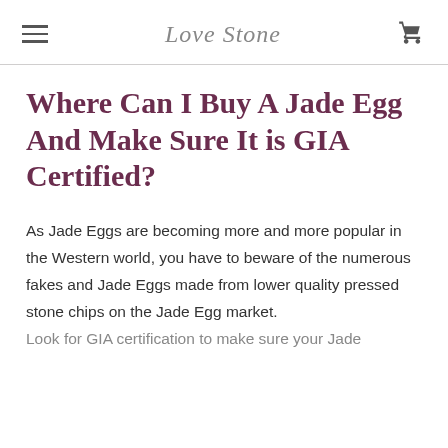Love Stone
Where Can I Buy A Jade Egg And Make Sure It is GIA Certified?
As Jade Eggs are becoming more and more popular in the Western world, you have to beware of the numerous fakes and Jade Eggs made from lower quality pressed stone chips on the Jade Egg market.
Look for GIA certification to make sure your Jade